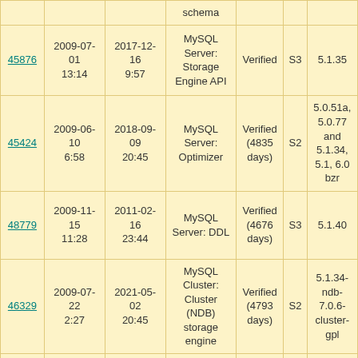| ID | Created | Updated | Component | Status | Sev | Version |
| --- | --- | --- | --- | --- | --- | --- |
| schema | (truncated) |  |  |  |  |  |
| 45876 | 2009-07-01 13:14 | 2017-12-16 9:57 | MySQL Server: Storage Engine API | Verified | S3 | 5.1.35 |
| 45424 | 2009-06-10 6:58 | 2018-09-09 20:45 | MySQL Server: Optimizer | Verified (4835 days) | S2 | 5.0.51a, 5.0.77 and 5.1.34, 5.1, 6.0 bzr |
| 48779 | 2009-11-15 11:28 | 2011-02-16 23:44 | MySQL Server: DDL | Verified (4676 days) | S3 | 5.1.40 |
| 46329 | 2009-07-22 2:27 | 2021-05-02 20:45 | MySQL Cluster: Cluster (NDB) storage engine | Verified (4793 days) | S2 | 5.1.34-ndb-7.0.6-cluster-gpl |